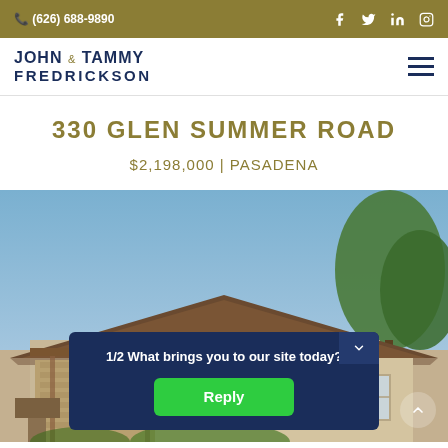📞 (626) 688-9890
[Figure (logo): John & Tammy Fredrickson real estate logo with hamburger menu icon]
330 GLEN SUMMER ROAD
$2,198,000 | PASADENA
[Figure (photo): Exterior photo of a single-story house with brown shingled roof and trees in the background against a blue sky]
1/2 What brings you to our site today?
Reply